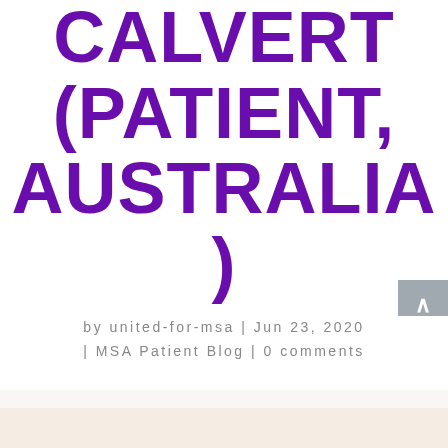CALVERT (PATIENT, AUSTRALIA)
by united-for-msa | Jun 23, 2020 | MSA Patient Blog | 0 comments